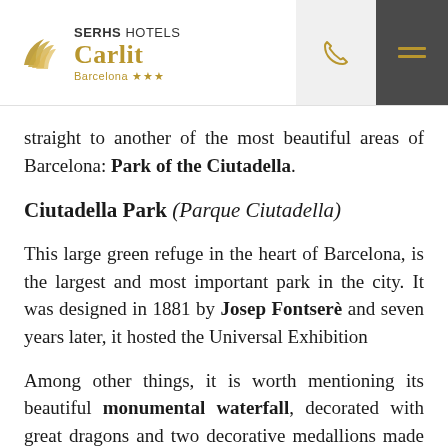SERHS HOTELS Carlit Barcelona ***
straight to another of the most beautiful areas of Barcelona: Park of the Ciutadella.
Ciutadella Park (Parque Ciutadella)
This large green refuge in the heart of Barcelona, is the largest and most important park in the city. It was designed in 1881 by Josep Fontserè and seven years later, it hosted the Universal Exhibition
Among other things, it is worth mentioning its beautiful monumental waterfall, decorated with great dragons and two decorative medallions made by –by then– a young student named Antoni Gaudí, who also took care of its water pipes, and the lake, where it is possible to rent